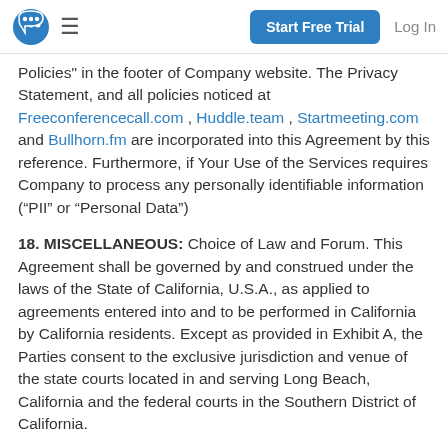[Logo] [Menu] Start Free Trial  Log In
Policies" in the footer of Company website. The Privacy Statement, and all policies noticed at Freeconferencecall.com , Huddle.team , Startmeeting.com and Bullhorn.fm are incorporated into this Agreement by this reference. Furthermore, if Your Use of the Services requires Company to process any personally identifiable information (“PII” or “Personal Data”)
18. MISCELLANEOUS: Choice of Law and Forum. This Agreement shall be governed by and construed under the laws of the State of California, U.S.A., as applied to agreements entered into and to be performed in California by California residents. Except as provided in Exhibit A, the Parties consent to the exclusive jurisdiction and venue of the state courts located in and serving Long Beach, California and the federal courts in the Southern District of California.